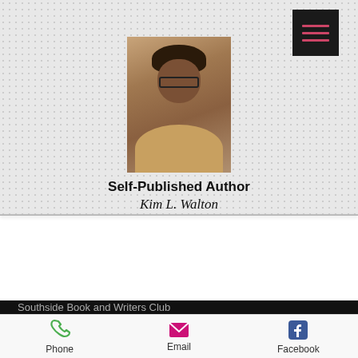[Figure (screenshot): Author profile section with photo of Kim L. Walton, a Black woman with glasses and short hair, against a light gray textured background. A black hamburger menu button is in the top right corner.]
Self-Published Author
Kim L. Walton
[Figure (screenshot): Dark banner section showing 'SBWC Authors Reading Tour' title in white text on black/dark background, with partial text 'Southside Book and Writers Club' at the bottom.]
Southside Book and Writers Club
Phone   Email   Facebook